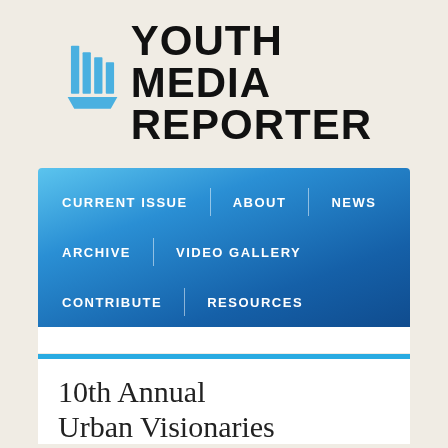[Figure (logo): Youth Media Reporter logo: blue vertical bars icon on the left, bold uppercase black text 'YOUTH MEDIA REPORTER' on the right in two lines]
[Figure (screenshot): Navigation bar with blue gradient background containing menu items: CURRENT ISSUE, ABOUT, NEWS (row 1); ARCHIVE, VIDEO GALLERY (row 2); CONTRIBUTE, RESOURCES (row 3), separated by vertical white divider lines]
10th Annual Urban Visionaries